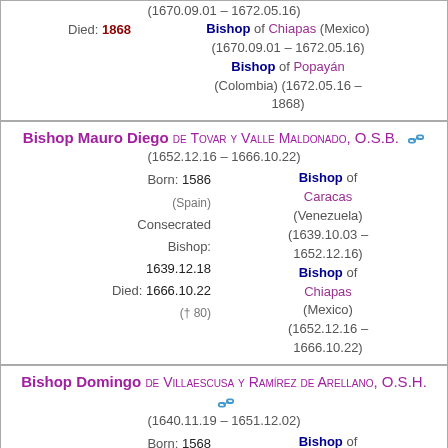(1670.09.01 – 1672.05.16)
Died: 1868 | Bishop of Chiapas (Mexico) (1670.09.01 – 1672.05.16) Bishop of Popayán (Colombia) (1672.05.16 – 1868)
Bishop Mauro Diego DE TOVAR Y VALLE MALDONADO, O.S.B. (1652.12.16 – 1666.10.22)
Born: 1586 (Spain) | Consecrated Bishop: 1639.12.18 | Died: 1666.10.22 († 80) | Bishop of Caracas (Venezuela) (1639.10.03 – 1652.12.16) | Bishop of Chiapas (Mexico) (1652.12.16 – 1666.10.22)
Bishop Domingo DE VILLAESCUSA Y RAMÍREZ DE ARELLANO, O.S.H. (1640.11.19 – 1651.12.02)
Born: 1568 (Spain) | Consecrated Bishop: 1641.03.24 | Bishop of Chiapas (Mexico) (1640.11.19 –